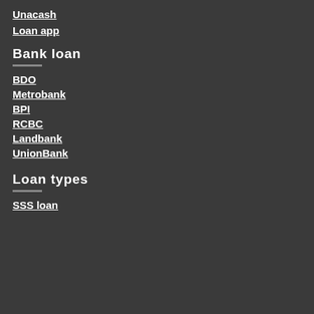Unacash
Loan app
Bank loan
BDO
Metrobank
BPI
RCBC
Landbank
UnionBank
Loan types
SSS loan